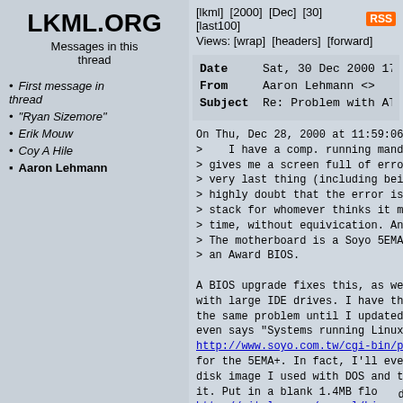LKML.ORG
Messages in this thread
First message in thread
"Ryan Sizemore"
Erik Mouw
Coy A Hile
Aaron Lehmann
[lkml]  [2000]  [Dec]  [30]  [last100]  RSS  Views: [wrap]  [headers]  [forward]
| Field | Value |
| --- | --- |
| Date | Sat, 30 Dec 2000 17: |
| From | Aaron Lehmann <> |
| Subject | Re: Problem with ATX |
On Thu, Dec 28, 2000 at 11:59:06PM -
>    I have a comp. running mandrake
> gives me a screen full of errors,
> very last thing (including being a
> highly doubt that the error is rec
> stack for whomever thinks it may b
> time, without equivication. Any in
> The motherboard is a Soyo 5EMA+ r1
> an Award BIOS.

A BIOS upgrade fixes this, as well a
with large IDE drives. I have the sa
the same problem until I updated the
even says "Systems running Linux can
http://www.soyo.com.tw/cgi-bin/prodi
for the 5EMA+. In fact, I'll even be
disk image I used with DOS and the b
it. Put in a blank 1.4MB floppy disk
http://vitelus.com/aaronl/biosdisk.i
dd if=biosdisk.img of=/dev/fd0 ba